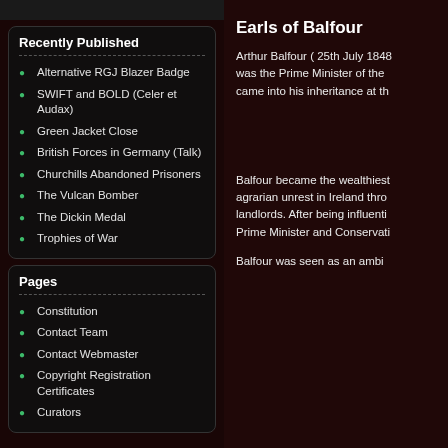Recently Published
Alternative RGJ Blazer Badge
SWIFT and BOLD (Celer et Audax)
Green Jacket Close
British Forces in Germany (Talk)
Churchills Abandoned Prisoners
The Vulcan Bomber
The Dickin Medal
Trophies of War
Pages
Constitution
Contact Team
Contact Webmaster
Copyright Registration Certificates
Curators
Earls of Balfour
Arthur Balfour ( 25th July 1848 was the Prime Minister of the came into his inheritance at th
Balfour became the wealthiest agrarian unrest in Ireland thro landlords. After being influenti Prime Minister and Conservati
Balfour was seen as an ambi